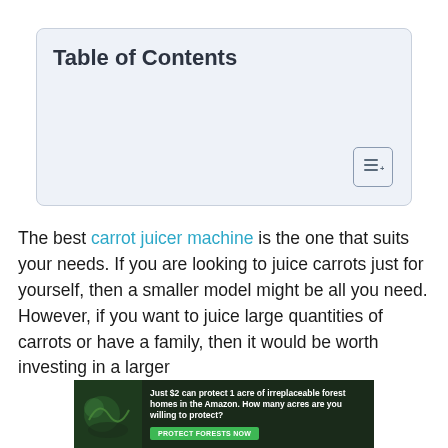Table of Contents
The best carrot juicer machine is the one that suits your needs. If you are looking to juice carrots just for yourself, then a smaller model might be all you need. However, if you want to juice large quantities of carrots or have a family, then it would be worth investing in a larger
[Figure (infographic): Advertisement banner: 'Just $2 can protect 1 acre of irreplaceable forest homes in the Amazon. How many acres are you willing to protect?' with a green 'Protect Forests Now' button and a dark forest background image.]